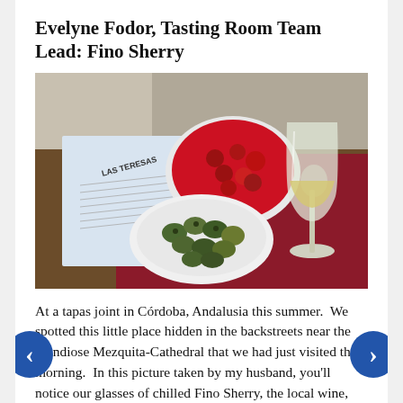Evelyne Fodor, Tasting Room Team Lead: Fino Sherry
[Figure (photo): Photo of a tapas restaurant table in Córdoba, Andalusia showing a menu/wine list, a plate of red peppers/raspberries, a bowl of green olives, and a glass of chilled Fino Sherry on a red patterned tablecloth.]
At a tapas joint in Córdoba, Andalusia this summer.  We spotted this little place hidden in the backstreets near the grandiose Mezquita-Cathedral that we had just visited that morning.  In this picture taken by my husband, you'll notice our glasses of chilled Fino Sherry, the local wine, ubiquitous in the region.  I still feel the deliciously crisp refreshing taste of it, with its distinctive